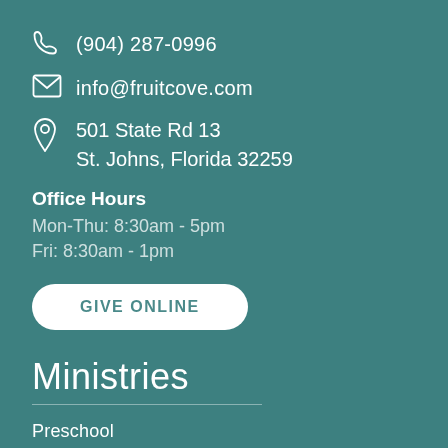(904) 287-0996
info@fruitcove.com
501 State Rd 13
St. Johns, Florida 32259
Office Hours
Mon-Thu: 8:30am - 5pm
Fri: 8:30am - 1pm
GIVE ONLINE
Ministries
Preschool
Kids
Students
MidWeek